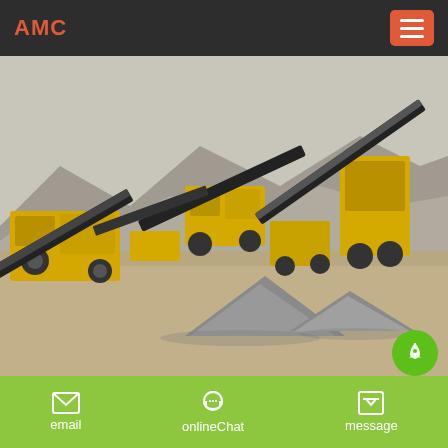AMC
[Figure (photo): Outdoor mining/quarrying site with large yellow crushing and conveyor machinery, gravel piles in the foreground, arid rocky mountains in the background.]
Plus de 100 millions de composants des
email  onlineChat  message